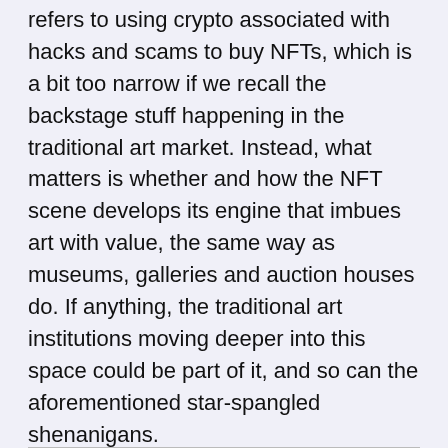refers to using crypto associated with hacks and scams to buy NFTs, which is a bit too narrow if we recall the backstage stuff happening in the traditional art market. Instead, what matters is whether and how the NFT scene develops its engine that imbues art with value, the same way as museums, galleries and auction houses do. If anything, the traditional art institutions moving deeper into this space could be part of it, and so can the aforementioned star-spangled shenanigans.
Related: Chainalysis report finds most NFT wash traders unprofitable
On the other end of this equation are, well, the end-users, for lack of a better word, and all of the off-chain legal intricacies. Let's take taxes again, for example. When selling an art piece from your collection, you have to pay the capital gains tax. The same goes for selling an NFT.